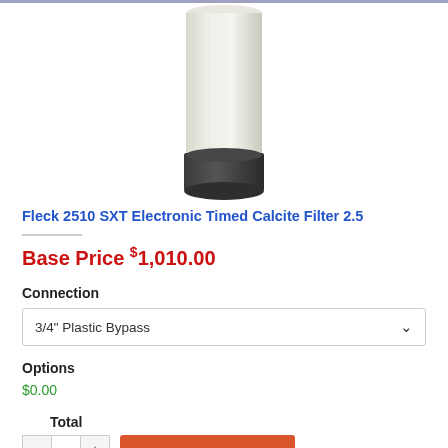[Figure (photo): Product photo of a water filter tank – cylindrical tank with light beige/cream colored upper body and dark grey/black lower base, shown partially cropped at top of page]
Fleck 2510 SXT Electronic Timed Calcite Filter 2.5
Base Price $1,010.00
Connection
3/4" Plastic Bypass
Options
$0.00
Total